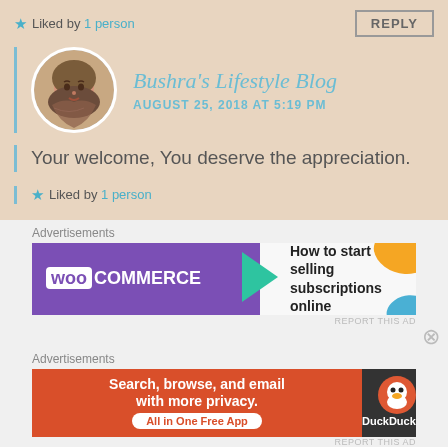★ Liked by 1 person
REPLY
Bushra's Lifestyle Blog
AUGUST 25, 2018 AT 5:19 PM
Your welcome, You deserve the appreciation.
★ Liked by 1 person
Advertisements
[Figure (screenshot): WooCommerce advertisement banner: 'How to start selling subscriptions online']
REPORT THIS AD
Advertisements
[Figure (screenshot): DuckDuckGo advertisement: 'Search, browse, and email with more privacy. All in One Free App']